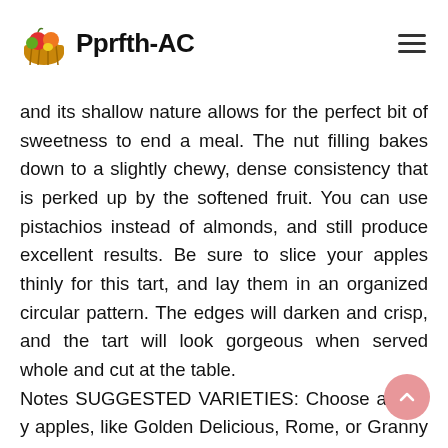Pprfth-AC
and its shallow nature allows for the perfect bit of sweetness to end a meal. The nut filling bakes down to a slightly chewy, dense consistency that is perked up by the softened fruit. You can use pistachios instead of almonds, and still produce excellent results. Be sure to slice your apples thinly for this tart, and lay them in an organized circular pattern. The edges will darken and crisp, and the tart will look gorgeous when served whole and cut at the table.
Notes SUGGESTED VARIETIES: Choose apple-y apples, like Golden Delicious, Rome, or Granny Smith.